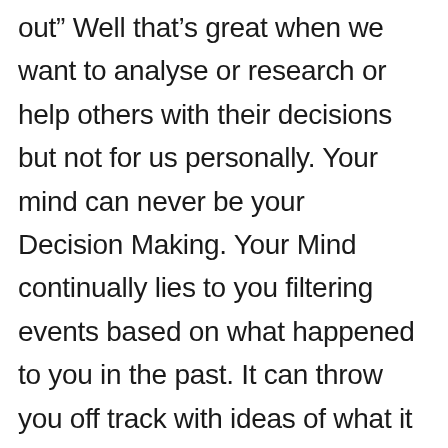out” Well that’s great when we want to analyse or research or help others with their decisions but not for us personally. Your mind can never be your Decision Making. Your Mind continually lies to you filtering events based on what happened to you in the past. It can throw you off track with ideas of what it thinks you “should do. It puts up blinders preventing you from seeing opportunities right in front of you. That’s its job. It wants to keep you safe. But what is the cost of you giving